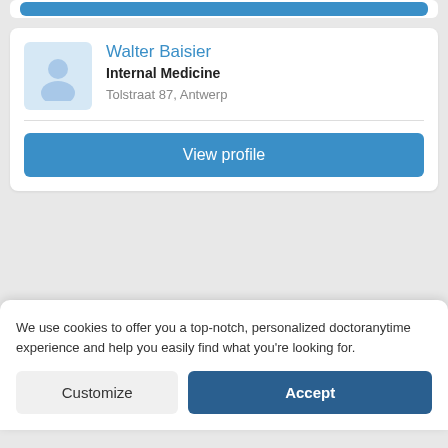[Figure (screenshot): Partial doctor listing card showing a blue View profile button at the top of the page]
Walter Baisier
Internal Medicine
Tolstraat 87, Antwerp
View profile
Roger Abs
Internal Medicine
Grotesteenweg 556, Berchem Anvers
We use cookies to offer you a top-notch, personalized doctoranytime experience and help you easily find what you're looking for.
Customize
Accept